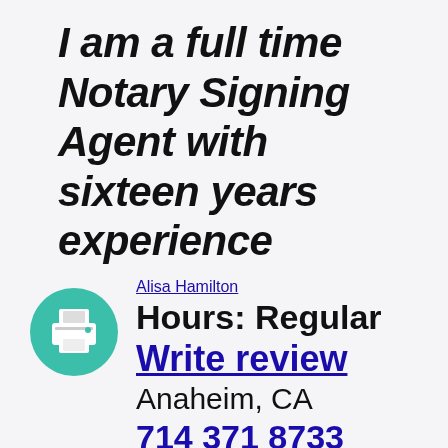I am a full time Notary Signing Agent with sixteen years experience
Alisa Hamilton
Hours: Regular
Write review
Anaheim, CA
714 371 8733